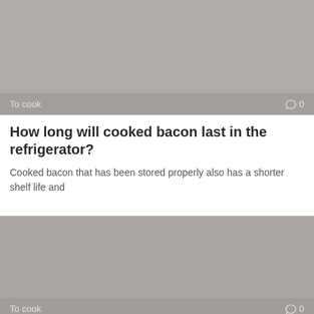[Figure (photo): Gray placeholder image for article thumbnail with category label 'To cook' and comment count '0' at the bottom]
How long will cooked bacon last in the refrigerator?
Cooked bacon that has been stored properly also has a shorter shelf life and
[Figure (photo): Gray placeholder image for second article thumbnail with category label 'To cook' and comment count '0' at the bottom]
How long do you cook a turkey at